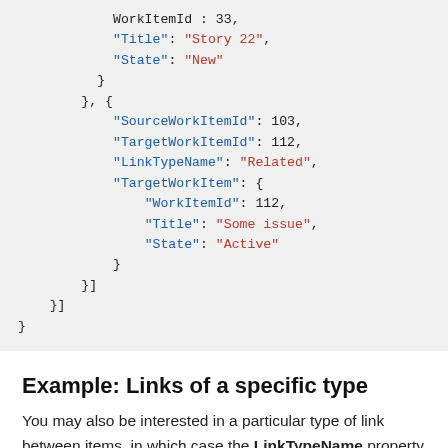[Figure (other): JSON code block showing work item link data with SourceWorkItemId, TargetWorkItemId, LinkTypeName, TargetWorkItem properties]
Example: Links of a specific type
You may also be interested in a particular type of link between items, in which case the LinkTypeName property